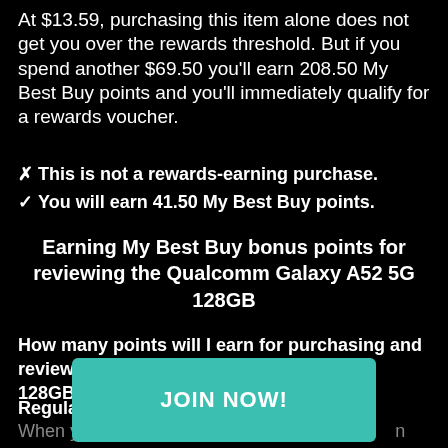At $13.59, purchasing this item alone does not get you over the rewards threshold. But if you spend another $69.50 you'll earn 208.50 My Best Buy points and you'll immediately qualify for a rewards voucher.
✖ This is not a rewards-earning purchase.
✔ You will earn 41.50 My Best Buy points.
Earning My Best Buy bonus points for reviewing the Qualcomm Galaxy A52 5G 128GB
How many points will I earn for purchasing and reviewing the Qualcomm Galaxy A52 5G 128GB?
Regular My Best Buy Members:
When you [JOIN NOW!] n Galaxy A52 5G 12 u'll earn 6.75 pointe writing a review. A total of 73.75... My Best Buy
[Figure (other): JOIN NOW! button overlay in teal/green color]